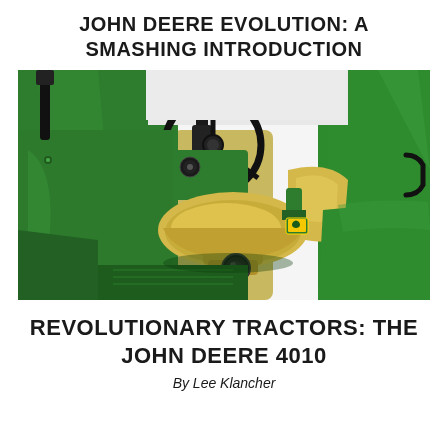JOHN DEERE EVOLUTION: A SMASHING INTRODUCTION
[Figure (photo): Close-up photograph of a John Deere tractor cockpit showing a black steering wheel, green body panels, a yellow cushioned seat, and a John Deere logo badge, set against a white background.]
REVOLUTIONARY TRACTORS: THE JOHN DEERE 4010
By Lee Klancher